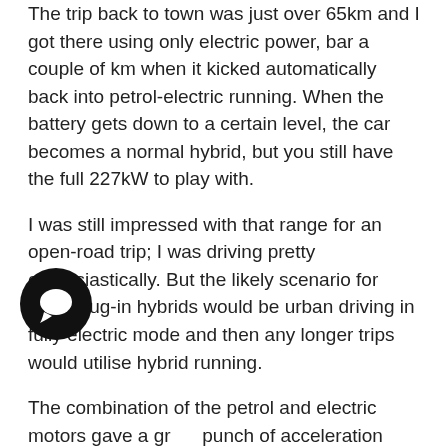The trip back to town was just over 65km and I got there using only electric power, bar a couple of km when it kicked automatically back into petrol-electric running. When the battery gets down to a certain level, the car becomes a normal hybrid, but you still have the full 227kW to play with.
I was still impressed with that range for an open-road trip; I was driving pretty enthusiastically. But the likely scenario for most plug-in hybrids would be urban driving in fully electric mode and then any longer trips would utilise hybrid running.
The combination of the petrol and electric motors gave a great punch of acceleration when required and the NX felt agile for its size – something that's helped by the weight of the battery being under the floor.
My next trip was a longer one to Hawkes Bay, to another